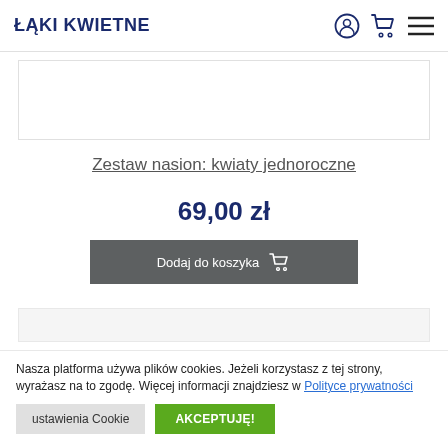ŁĄKI KWIETNE
[Figure (photo): Product image placeholder area (white rectangle with border)]
Zestaw nasion: kwiaty jednoroczne
69,00 zł
Dodaj do koszyka
[Figure (photo): Partial product/nature image strip at bottom of main content]
Nasza platforma używa plików cookies. Jeżeli korzystasz z tej strony, wyrażasz na to zgodę. Więcej informacji znajdziesz w Polityce prywatności
ustawienia Cookie
AKCEPTUJĘ!